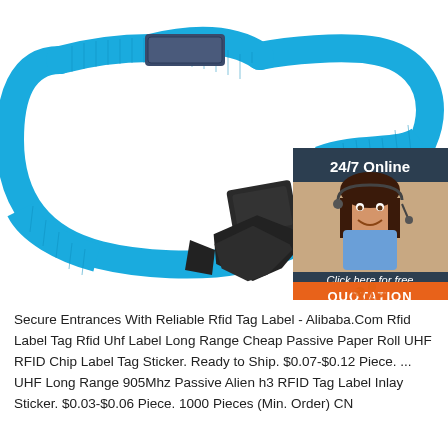[Figure (photo): Blue RFID wristband with black plastic buckle clasp, shown on white background. In the upper right is a customer service chat widget with '24/7 Online' header, a smiling female agent with headset, 'Click here for free chat!' text, and an orange QUOTATION button.]
Secure Entrances With Reliable Rfid Tag Label - Alibaba.Com Rfid Label Tag Rfid Uhf Label Long Range Cheap Passive Paper Roll UHF RFID Chip Label Tag Sticker. Ready to Ship. $0.07-$0.12 Piece. ... UHF Long Range 905Mhz Passive Alien h3 RFID Tag Label Inlay Sticker. $0.03-$0.06 Piece. 1000 Pieces (Min. Order) CN